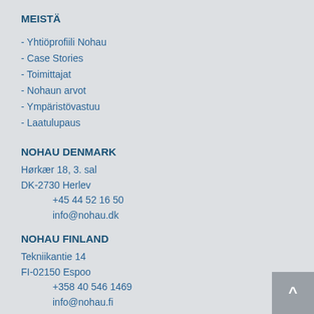MEISTÄ
- Yhtiöprofiili Nohau
- Case Stories
- Toimittajat
- Nohaun arvot
- Ympäristövastuu
- Laatulupaus
NOHAU DENMARK
Hørkær 18, 3. sal
DK-2730 Herlev
+45 44 52 16 50
info@nohau.dk
NOHAU FINLAND
Tekniikantie 14
FI-02150 Espoo
+358 40 546 1469
info@nohau.fi